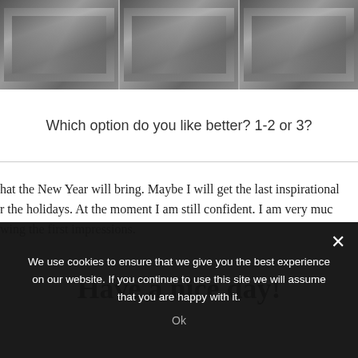[Figure (photo): Three grayscale photo panels arranged horizontally at the top of the page, showing textured dark surfaces (possibly concrete or stone with diagonal lines).]
Which option do you like better? 1-2 or 3?
hat the New Year will bring. Maybe I will get the last inspirational ... r the holidays. At the moment I am still confident. I am very muc... wing the first impressions.
Have a nice day!
We use cookies to ensure that we give you the best experience on our website. If you continue to use this site we will assume that you are happy with it.
Ok